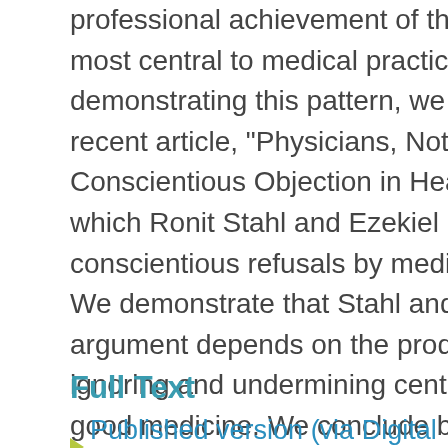professional achievement of the excellences most central to medical practice. In demonstrating this pattern, we focus on a recent article, "Physicians, Not Conscripts-Conscientious Objection in Health Care," in which Ronit Stahl and Ezekiel Emanuel decry conscientious refusals by medical practitioners. We demonstrate that Stahl and Emanuel's argument depends on the product presumption, ignoring and undermining central features of good medicine. We conclude by encouraging conscientious resistance to the product presumption and the language it engenders.
Full Text
Published version (via Digital Object